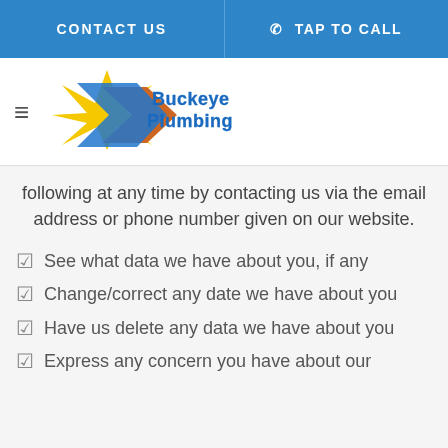CONTACT US | TAP TO CALL
[Figure (logo): Buckeye Plumbing logo with star/arrow shape in yellow, blue, and orange with blue text]
following at any time by contacting us via the email address or phone number given on our website.
See what data we have about you, if any
Change/correct any date we have about you
Have us delete any data we have about you
Express any concern you have about our